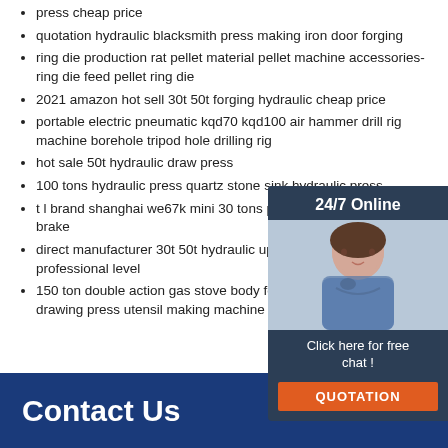press cheap price
quotation hydraulic blacksmith press making iron door forging
ring die production rat pellet material pellet machine accessories-ring die feed pellet ring die
2021 amazon hot sell 30t 50t forging hydraulic cheap price
portable electric pneumatic kqd70 kqd100 air hammer drill rig machine borehole tripod hole drilling rig
hot sale 50t hydraulic draw press
100 tons hydraulic press quartz stone sink hydraulic press
t l brand shanghai we67k mini 30 tons press brake hydraulic press brake
direct manufacturer 30t 50t hydraulic upset curve draw press professional level
150 ton double action gas stove body forming hydraulic deep drawing press utensil making machine
[Figure (photo): Customer service representative with headset, sidebar widget showing '24/7 Online', 'Click here for free chat!', and QUOTATION button]
[Figure (logo): TOP button with orange dots above and orange/blue TOP text]
Contact Us